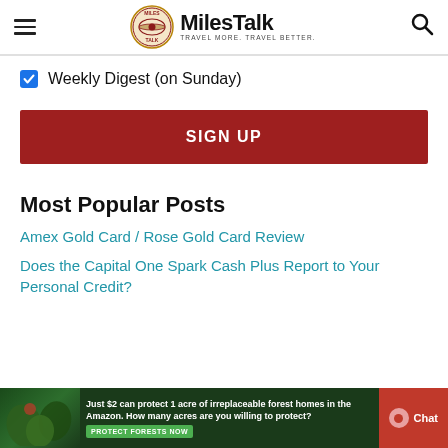MilesTalk — TRAVEL MORE. TRAVEL BETTER.
Weekly Digest (on Sunday)
SIGN UP
Most Popular Posts
Amex Gold Card / Rose Gold Card Review
Does the Capital One Spark Cash Plus Report to Your Personal Credit?
[Figure (photo): Ad banner: Just $2 can protect 1 acre of irreplaceable forest homes in the Amazon. How many acres are you willing to protect? PROTECT FORESTS NOW. Chat button visible at bottom right.]